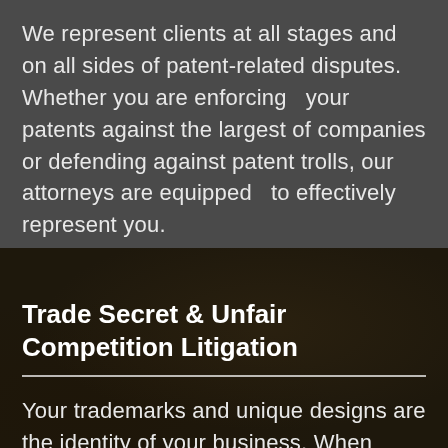We represent clients at all stages and on all sides of patent-related disputes. Whether you are enforcing   your patents against the largest of companies or defending against patent trolls, our attorneys are equipped   to effectively represent you.
Trade Secret & Unfair Competition Litigation
Your trademarks and unique designs are the identity of your business. When others use your